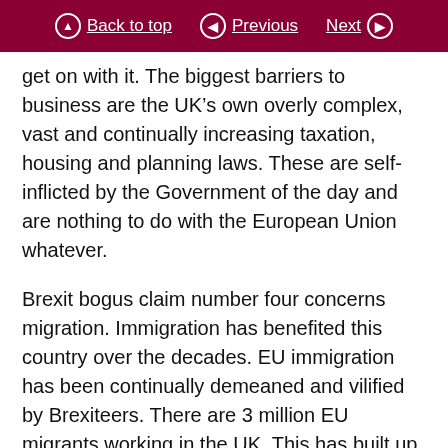Back to top | Previous | Next
get on with it. The biggest barriers to business are the UK’s own overly complex, vast and continually increasing taxation, housing and planning laws. These are self-inflicted by the Government of the day and are nothing to do with the European Union whatever.
Brexit bogus claim number four concerns migration. Immigration has benefited this country over the decades. EU immigration has been continually demeaned and vilified by Brexiteers. There are 3 million EU migrants working in the UK. This has built up over a number of years and we know how hard-working they are. For example, surveys show that the Polish community is respected and appreciated by the British public and seen as contributing to our